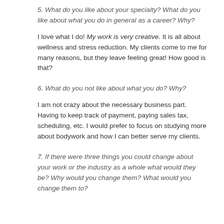factors too, online scheduling, website, offering classes, getting myself known in the community.
5. What do you like about your specialty? What do you like about what you do in general as a career? Why?
I love what I do! My work is very creative. It is all about wellness and stress reduction. My clients come to me for many reasons, but they leave feeling great! How good is that?
6. What do you not like about what you do? Why?
I am not crazy about the necessary business part. Having to keep track of payment, paying sales tax, scheduling, etc. I would prefer to focus on studying more about bodywork and how I can better serve my clients.
7. If there were three things you could change about your work or the industry as a whole what would they be? Why would you change them? What would you change them to?